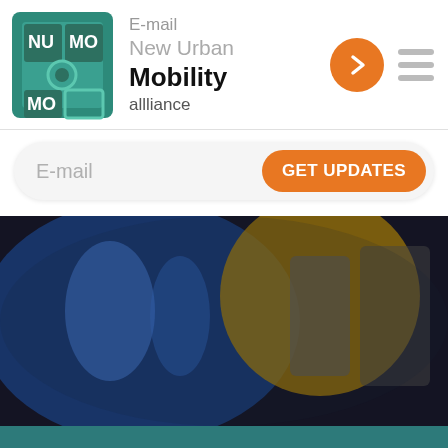[Figure (logo): NUMO logo - teal square with NU MO text]
E-mail
New Urban
Mobility
allliance
[Figure (other): Orange circular arrow button]
[Figure (other): Hamburger menu icon with three gray lines]
E-mail
GET UPDATES
[Figure (photo): Blurred photo of vehicles or transit scene with blue and yellow colors]